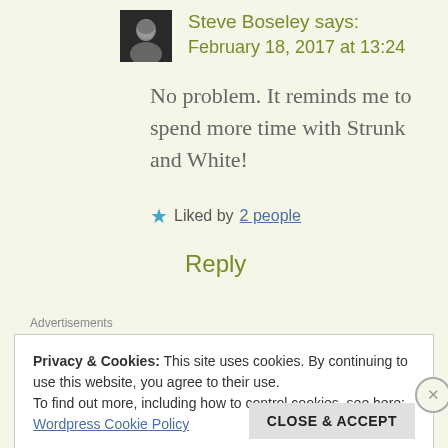Steve Boseley says: February 18, 2017 at 13:24
No problem. It reminds me to spend more time with Strunk and White!
Liked by 2 people
Reply
Advertisements
Privacy & Cookies: This site uses cookies. By continuing to use this website, you agree to their use.
To find out more, including how to control cookies, see here:
Wordpress Cookie Policy
CLOSE & ACCEPT